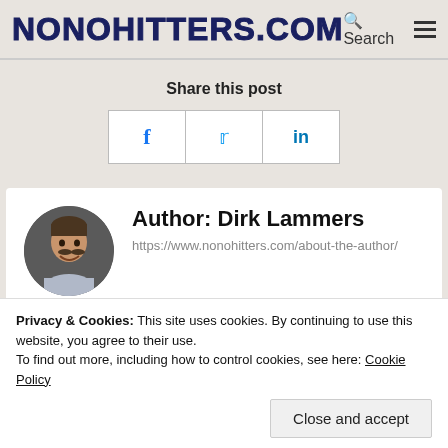NONOHITTERS.COM
Share this post
[Figure (other): Social share buttons: Facebook (f), Twitter (bird icon), LinkedIn (in)]
[Figure (photo): Circular author photo of Dirk Lammers, a smiling man with a mustache]
Author: Dirk Lammers
https://www.nonohitters.com/about-the-author/
Privacy & Cookies: This site uses cookies. By continuing to use this website, you agree to their use.
To find out more, including how to control cookies, see here: Cookie Policy
research into Baseball's No-Hit